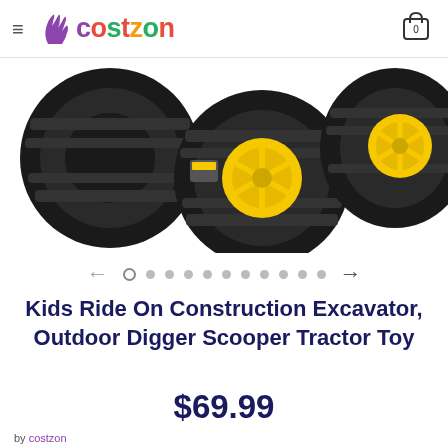≡ Costzon [cart: 0]
[Figure (photo): Close-up photo of black and yellow construction toy tractor wheels/tires against white background]
Kids Ride On Construction Excavator, Outdoor Digger Scooper Tractor Toy
$69.99
by costzon